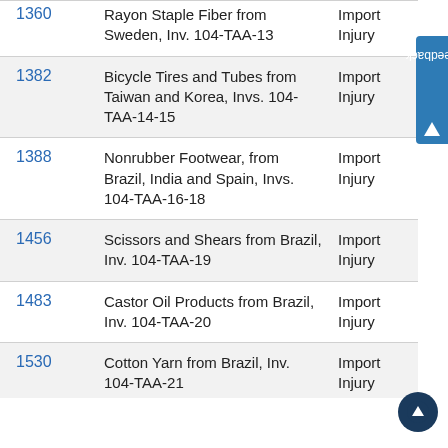| No. | Description | Type |
| --- | --- | --- |
| 1360 | Rayon Staple Fiber from Sweden, Inv. 104-TAA-13 | Import Injury |
| 1382 | Bicycle Tires and Tubes from Taiwan and Korea, Invs. 104-TAA-14-15 | Import Injury |
| 1388 | Nonrubber Footwear, from Brazil, India and Spain, Invs. 104-TAA-16-18 | Import Injury |
| 1456 | Scissors and Shears from Brazil, Inv. 104-TAA-19 | Import Injury |
| 1483 | Castor Oil Products from Brazil, Inv. 104-TAA-20 | Import Injury |
| 1530 | Cotton Yarn from Brazil, Inv. 104-TAA-21 | Import Injury |